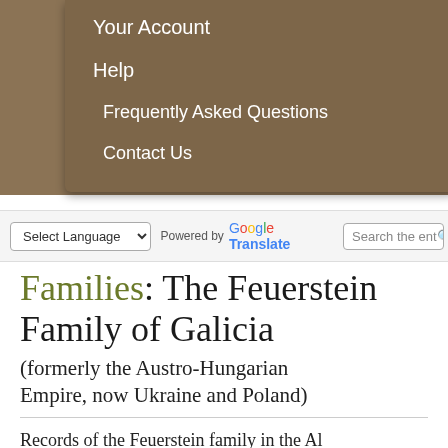Your Account
Help
Frequently Asked Questions
Contact Us
Select Language  Powered by  Google Translate  Search the ente...
Families: The Feuerstein Family of Galicia (formerly the Austro-Hungarian Empire, now Ukraine and Poland)
Records of the Feuerstein family in the Al...